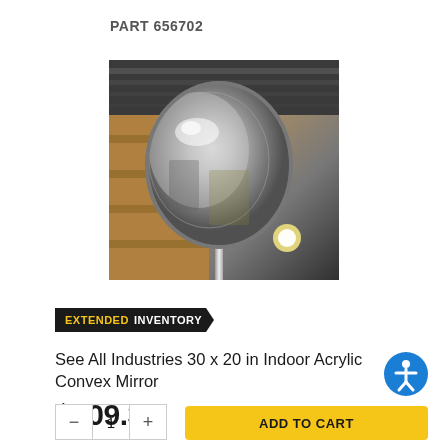PART 656702
[Figure (photo): Photo of a chrome convex mirror mounted on a pole, shown in a warehouse/industrial setting]
EXTENDED INVENTORY
See All Industries 30 x 20 in Indoor Acrylic Convex Mirror
$209.32
[Figure (illustration): Accessibility icon button (person with arms extended in circle)]
ADD TO CART